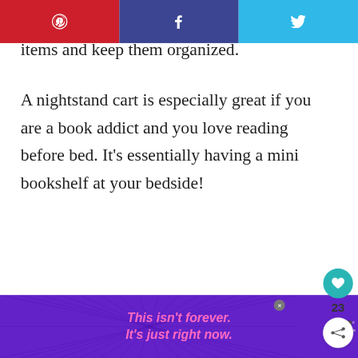Social share bar with Pinterest, Facebook, Twitter icons
items and keep them organized.
A nightstand cart is especially great if you are a book addict and you love reading before bed. It’s essentially having a mini bookshelf at your bedside!
You can also keep your nightstand cart organized using simple plastic dividers. They will help keep things in place. For example
[Figure (other): What's Next promo box showing a dark speaker/device thumbnail with text 'WHAT’S NEXT → How To Organize Wi...']
[Figure (other): Advertisement banner with purple starburst background and pink italic text 'This isn’t forever. It’s just right now.' with close button and logo]